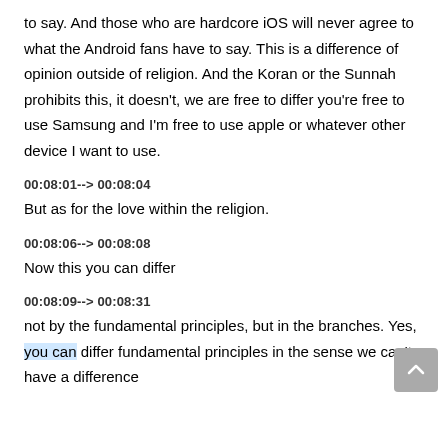to say. And those who are hardcore iOS will never agree to what the Android fans have to say. This is a difference of opinion outside of religion. And the Koran or the Sunnah prohibits this, it doesn't, we are free to differ you're free to use Samsung and I'm free to use apple or whatever other device I want to use.
00:08:01--> 00:08:04
But as for the love within the religion.
00:08:06--> 00:08:08
Now this you can differ
00:08:09--> 00:08:31
not by the fundamental principles, but in the branches. Yes, you can differ fundamental principles in the sense we can't have a difference